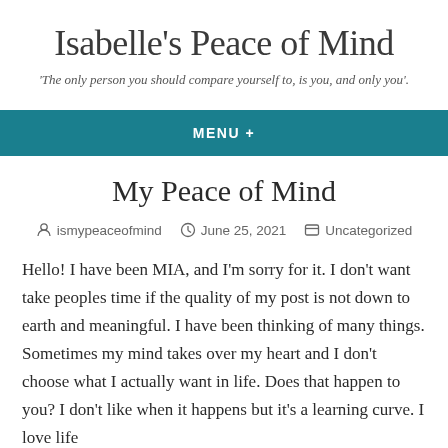Isabelle's Peace of Mind
'The only person you should compare yourself to, is you, and only you'.
MENU +
My Peace of Mind
ismypeaceofmind   June 25, 2021   Uncategorized
Hello! I have been MIA, and I'm sorry for it.  I don't want take peoples time if the quality of my post is not down to earth and meaningful. I have been thinking of many things. Sometimes my mind takes over my heart and I don't choose what I actually want in life. Does that happen to you? I don't like when it happens but it's a learning curve. I love life